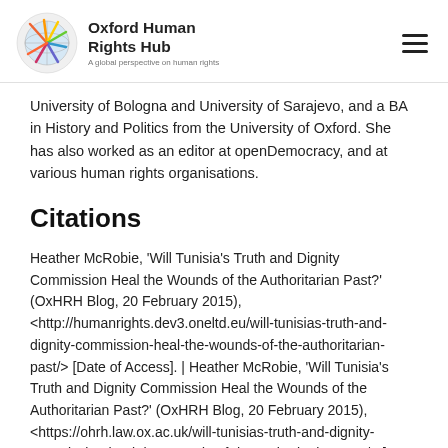Oxford Human Rights Hub — A global perspective on human rights
University of Bologna and University of Sarajevo, and a BA in History and Politics from the University of Oxford. She has also worked as an editor at openDemocracy, and at various human rights organisations.
Citations
Heather McRobie, ‘Will Tunisia’s Truth and Dignity Commission Heal the Wounds of the Authoritarian Past?’ (OxHRH Blog, 20 February 2015), <http://humanrights.dev3.oneltd.eu/will-tunisias-truth-and-dignity-commission-heal-the-wounds-of-the-authoritarian-past/> [Date of Access]. | Heather McRobie, ‘Will Tunisia’s Truth and Dignity Commission Heal the Wounds of the Authoritarian Past?’ (OxHRH Blog, 20 February 2015), <https://ohrh.law.ox.ac.uk/will-tunisias-truth-and-dignity-commission-heal-the-wounds-of-the-authoritarian-past/> [Date of Access]. | Heather McRobie, ‘Will Tunisia’s Truth and